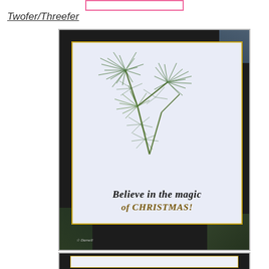Twofer/Threefer
[Figure (photo): A Christmas card with a pine/fern branch stamp in green ink at the top and the text 'Believe in the magic of CHRISTMAS!' in handwritten black and gold/brown script below, set on a light blue-white card with gold border, mounted on a dark black photo mat background.]
[Figure (photo): Partial view of a second Christmas card, also mounted on a dark background, showing only the top portion of a similar card design.]